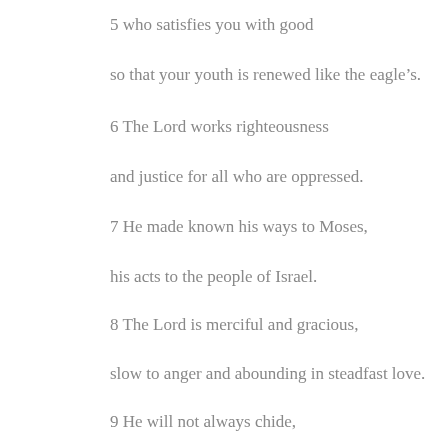5 who satisfies you with good
so that your youth is renewed like the eagle’s.
6 The Lord works righteousness
and justice for all who are oppressed.
7 He made known his ways to Moses,
his acts to the people of Israel.
8 The Lord is merciful and gracious,
slow to anger and abounding in steadfast love.
9 He will not always chide,
nor will he keep his anger forever.
10 He does not deal with us according to our sins,
nor repay us according to our iniquities.